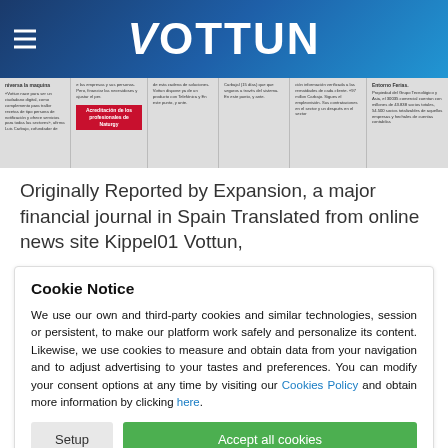Vottun
[Figure (photo): Newspaper article snippet showing Spanish text columns with a red highlighted section reading 'Acreditación de los profesionales de Naturgy']
Originally Reported by Expansion, a major financial journal in Spain Translated from online news site Kippel01 Vottun,
Cookie Notice
We use our own and third-party cookies and similar technologies, session or persistent, to make our platform work safely and personalize its content. Likewise, we use cookies to measure and obtain data from your navigation and to adjust advertising to your tastes and preferences. You can modify your consent options at any time by visiting our Cookies Policy and obtain more information by clicking here.
Setup | Accept all cookies